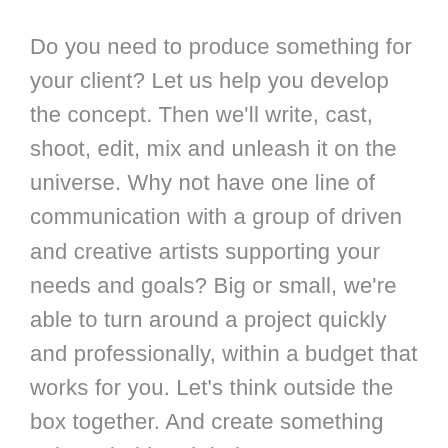Do you need to produce something for your client? Let us help you develop the concept. Then we'll write, cast, shoot, edit, mix and unleash it on the universe. Why not have one line of communication with a group of driven and creative artists supporting your needs and goals? Big or small, we're able to turn around a project quickly and professionally, within a budget that works for you. Let's think outside the box together. And create something unique, bold and daring.